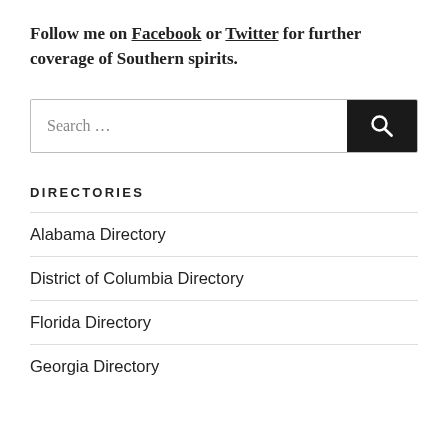Follow me on Facebook or Twitter for further coverage of Southern spirits.
DIRECTORIES
Alabama Directory
District of Columbia Directory
Florida Directory
Georgia Directory